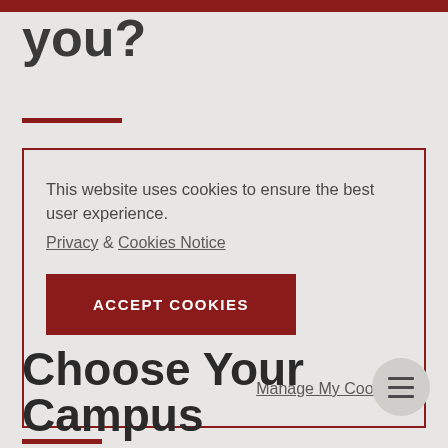you?
This website uses cookies to ensure the best user experience.
Privacy & Cookies Notice
ACCEPT COOKIES
Manage My Cookies
Choose Your Campus